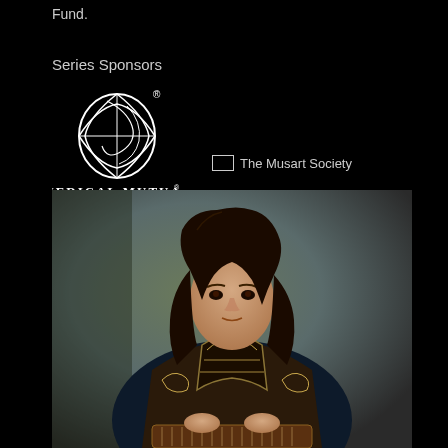Fund.
Series Sponsors
[Figure (logo): Medical Mutual logo — white globe/sphere icon above text 'MEDICAL MUTUAL' in white serif capitals]
[Figure (logo): The Musart Society logo — broken image placeholder with text 'The Musart Society']
[Figure (photo): Portrait photo of a man with long dark wavy hair, wearing a dark traditional Indian kurta with an ornate gold/bronze embroidered vest (nehru jacket), holding and playing a santoor (Indian string instrument). Background is muted green-grey.]